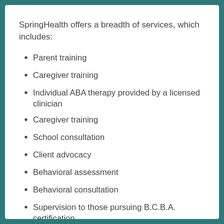SpringHealth offers a breadth of services, which includes:
Parent training
Caregiver training
Individual ABA therapy provided by a licensed clinician
Caregiver training
School consultation
Client advocacy
Behavioral assessment
Behavioral consultation
Supervision to those pursuing B.C.B.A. certification
Functional assessments
Behavior support plan development and